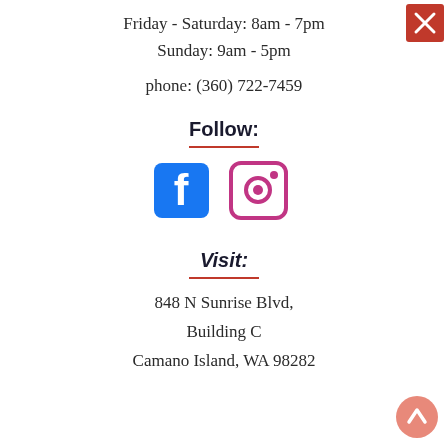Friday - Saturday: 8am - 7pm
Sunday: 9am - 5pm
phone: (360) 722-7459
Follow:
[Figure (illustration): Facebook and Instagram social media icons side by side]
Visit:
848 N Sunrise Blvd,
Building C
Camano Island, WA 98282
[Figure (illustration): Red close/X button in top right corner]
[Figure (illustration): Pink/salmon scroll-to-top arrow button in bottom right corner]